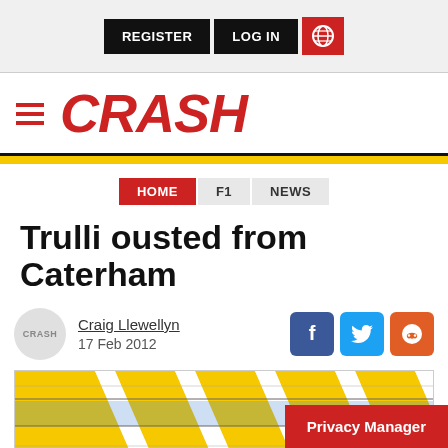REGISTER  LOG IN  [globe]
CRASH
HOME  F1  NEWS
Trulli ousted from Caterham
Craig Llewellyn
17 Feb 2012
[Figure (photo): Caterham F1 car livery detail showing yellow, blue and white striped bodywork panels]
Privacy Manager